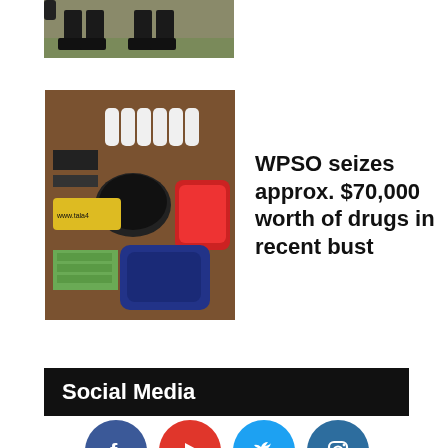[Figure (photo): Partial photo of law enforcement officers standing on grass, showing legs and feet]
[Figure (photo): Drugs bust evidence on a table: white bottles, containers, US cash, colorful bags and backpacks]
WPSO seizes approx. $70,000 worth of drugs in recent bust
Social Media
[Figure (infographic): Social media icons: Facebook, YouTube, Twitter, Instagram]